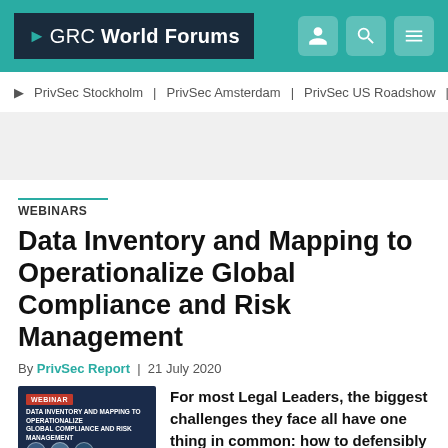GRC World Forums
PrivSec Stockholm | PrivSec Amsterdam | PrivSec US Roadshow
WEBINARS
Data Inventory and Mapping to Operationalize Global Compliance and Risk Management
By PrivSec Report | 21 July 2020
[Figure (screenshot): Webinar thumbnail showing title 'Data Inventory and Mapping to Operationalize Global Compliance and Risk Management' with speaker avatars and logos]
For most Legal Leaders, the biggest challenges they face all have one thing in common: how to defensibly manage their